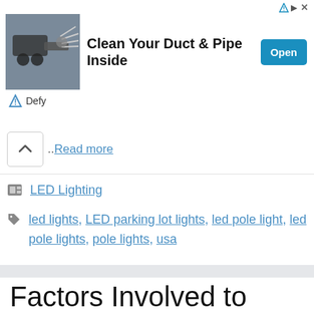[Figure (screenshot): Advertisement banner: image of duct cleaning machine with brush on left, headline 'Clean Your Duct & Pipe Inside', blue 'Open' button, Defy brand logo at bottom left. Top right shows ad disclosure triangle and X close button.]
.. Read more
LED Lighting
led lights, LED parking lot lights, led pole light, led pole lights, pole lights, usa
Factors Involved to Choose the Appropriate Parking